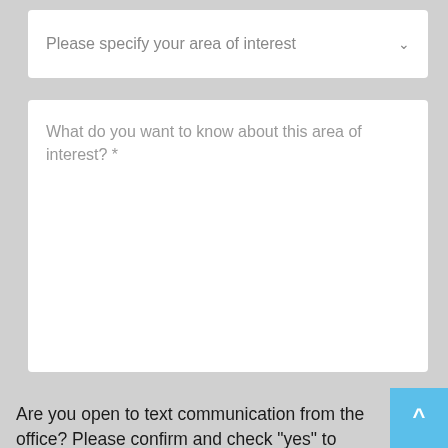Please specify your area of interest
What do you want to know about this area of interest? *
Are you open to text communication from the office? Please confirm and check "yes" to provide your mobile number below